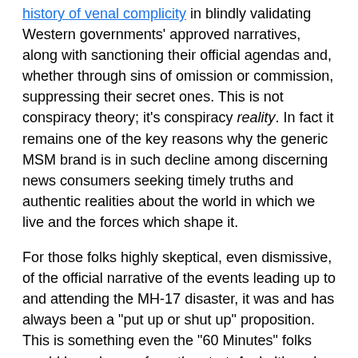history of venal complicity in blindly validating Western governments' approved narratives, along with sanctioning their official agendas and, whether through sins of omission or commission, suppressing their secret ones. This is not conspiracy theory; it's conspiracy reality. In fact it remains one of the key reasons why the generic MSM brand is in such decline among discerning news consumers seeking timely truths and authentic realities about the world in which we live and the forces which shape it.
For those folks highly skeptical, even dismissive, of the official narrative of the events leading up to and attending the MH-17 disaster, it was and has always been a "put up or shut up" proposition. This is something even the "60 Minutes" folks would have known from the start. And although we can say those promulgating this official narrative were unable to "put up" (albeit not for the want of trying), they eventually did "shut up".